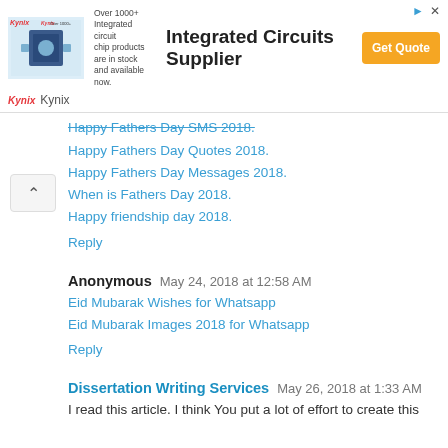[Figure (screenshot): Advertisement banner for Kynix Integrated Circuits Supplier with chip image, headline text, and orange Get Quote button]
Happy Fathers Day SMS 2018.
Happy Fathers Day Quotes 2018.
Happy Fathers Day Messages 2018.
When is Fathers Day 2018.
Happy friendship day 2018.
Reply
Anonymous  May 24, 2018 at 12:58 AM
Eid Mubarak Wishes for Whatsapp
Eid Mubarak Images 2018 for Whatsapp
Reply
Dissertation Writing Services  May 26, 2018 at 1:33 AM
I read this article. I think You put a lot of effort to create this